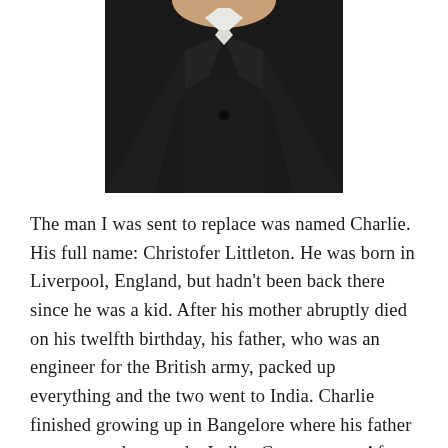[Figure (photo): Close-up photo of a person wearing a dark suit jacket with collar and a button visible at center chest, cropped to show torso and lower face/neck area.]
The man I was sent to replace was named Charlie. His full name: Christofer Littleton. He was born in Liverpool, England, but hadn't been back there since he was a kid. After his mother abruptly died on his twelfth birthday, his father, who was an engineer for the British army, packed up everything and the two went to India. Charlie finished growing up in Bangelore where his father was a consultant to the Indian Government. After completing compulsory